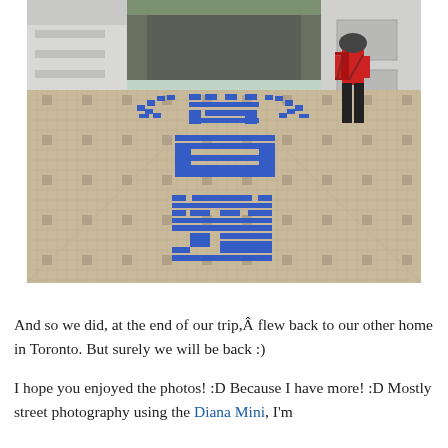[Figure (photo): Photo of a tiled plaza or courtyard entrance with large blue Chinese characters (kanji) painted/tiled onto the ground. A person wearing a red top, black pants, and a helmet with a backpack walks toward a building entrance. The surrounding architecture is modern with grey concrete walls.]
And so we did, at the end of our trip,Â flew back to our other home in Toronto. But surely we will be back :)
I hope you enjoyed the photos! :D Because I have more! :D Mostly street photography using the Diana Mini. I'm